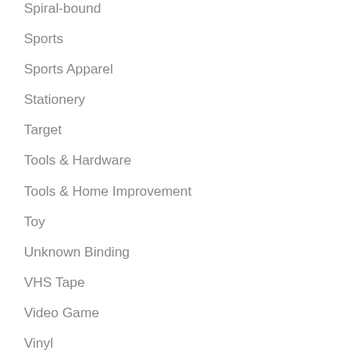Spiral-bound
Sports
Sports Apparel
Stationery
Target
Tools & Hardware
Tools & Home Improvement
Toy
Unknown Binding
VHS Tape
Video Game
Vinyl
Watch
Wine
Wireless Phone Accessory